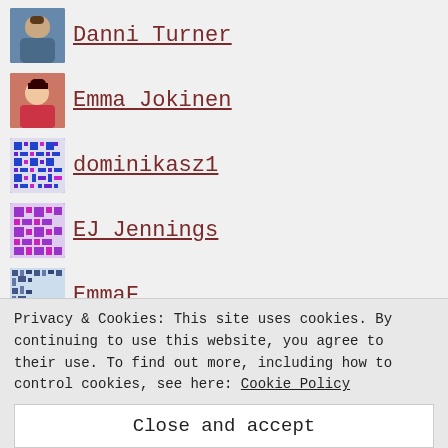Danni Turner
Emma Jokinen
dominikasz1
EJ Jennings
EmmaF
Elinor Austin
Elle Bogle
ellenharper
elliemrobson
emilyjdoo
Privacy & Cookies: This site uses cookies. By continuing to use this website, you agree to their use. To find out more, including how to control cookies, see here: Cookie Policy
Close and accept